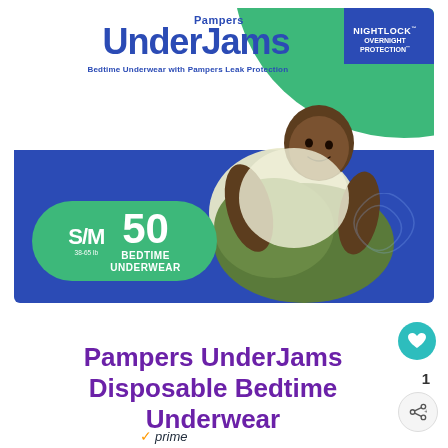[Figure (photo): Pampers UnderJams Bedtime Underwear product package. Blue and green packaging featuring a child hugging a pillow. Shows S/M size, 50 count Bedtime Underwear. NightLock Overnight Protection badge in top right corner.]
Pampers UnderJams Disposable Bedtime Underwear
prime